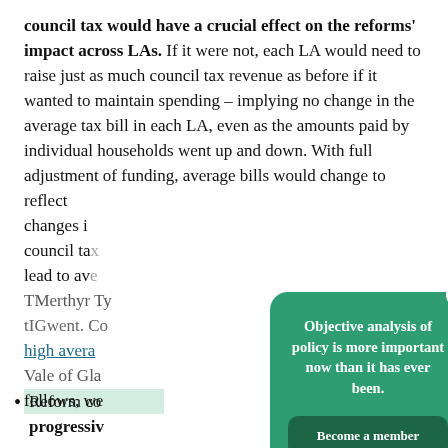council tax would have a crucial effect on the reforms' impact across LAs. If it were not, each LA would need to raise just as much council tax revenue as before if it wanted to maintain spending – implying no change in the average tax bill in each LA, even as the amounts paid by individual households went up and down. With full adjustment of funding, average bills would change to reflect changes in [obscured] council tax [obscured] lead to ave[obscured] Merthyr Ty[obscured] Gwent. Co[obscured] high avera[obscured] Vale of Gla[obscured] follows, we[obscured]
[Figure (infographic): Green popup modal with white text reading 'Objective analysis of policy is more important now than it has ever been.' and a dark green 'Become a member' button. An X close button appears in the top right corner of the modal.]
Reform co[obscured] progressive[obscured]